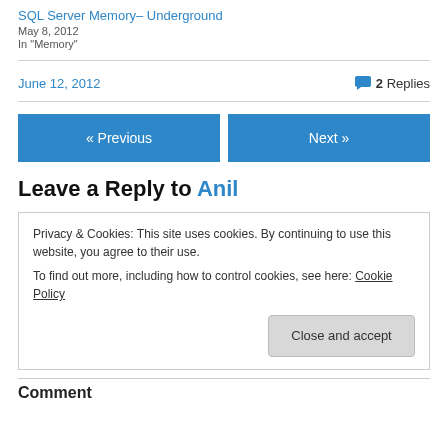SQL Server Memory– Underground
May 8, 2012
In "Memory"
June 12, 2012   2 Replies
« Previous   Next »
Leave a Reply to Anil
Privacy & Cookies: This site uses cookies. By continuing to use this website, you agree to their use.
To find out more, including how to control cookies, see here: Cookie Policy
Close and accept
Comment